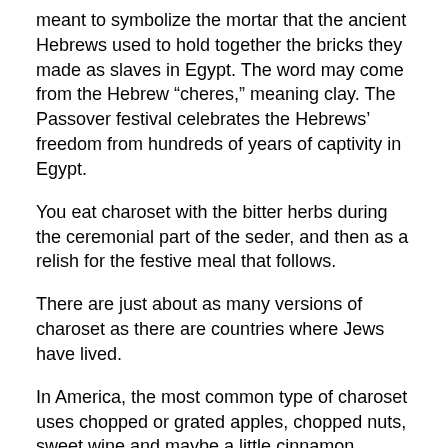meant to symbolize the mortar that the ancient Hebrews used to hold together the bricks they made as slaves in Egypt. The word may come from the Hebrew “cheres,” meaning clay. The Passover festival celebrates the Hebrews’ freedom from hundreds of years of captivity in Egypt.
You eat charoset with the bitter herbs during the ceremonial part of the seder, and then as a relish for the festive meal that follows.
There are just about as many versions of charoset as there are countries where Jews have lived.
In America, the most common type of charoset uses chopped or grated apples, chopped nuts, sweet wine and maybe a little cinnamon, because those were the ingredients available to our ancestors in Central and Eastern Europe.
MANY, MANY VARIETIES
Jews in other countries used dates and other dried fruits and honey. Some incorporated oranges and bananas. The only constants seem to be some sort of fruit and